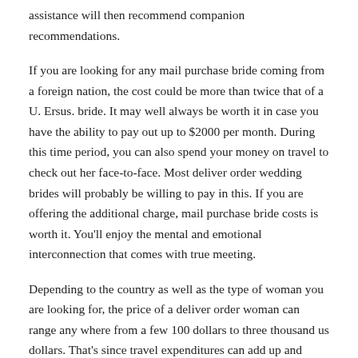assistance will then recommend companion recommendations.
If you are looking for any mail purchase bride coming from a foreign nation, the cost could be more than twice that of a U. Ersus. bride. It may well always be worth it in case you have the ability to pay out up to $2000 per month. During this time period, you can also spend your money on travel to check out her face-to-face. Most deliver order wedding brides will probably be willing to pay in this. If you are offering the additional charge, mail purchase bride costs is worth it. You'll enjoy the mental and emotional interconnection that comes with true meeting.
Depending to the country as well as the type of woman you are looking for, the price of a deliver order woman can range any where from a few 100 dollars to three thousand us dollars. That's since travel expenditures can add up and